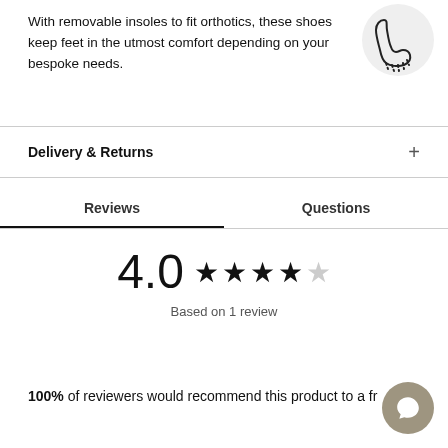With removable insoles to fit orthotics, these shoes keep feet in the utmost comfort depending on your bespoke needs.
[Figure (illustration): Line drawing of a foot/shoe sole icon in a light gray circle, top-right corner]
Delivery & Returns
Reviews | Questions (tabs)
4.0 ★★★★☆ Based on 1 review
100% of reviewers would recommend this product to a fr...